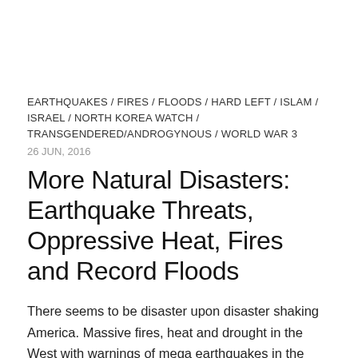EARTHQUAKES / FIRES / FLOODS / HARD LEFT / ISLAM / ISRAEL / NORTH KOREA WATCH / TRANSGENDERED/ANDROGYNOUS / WORLD WAR 3
26 JUN, 2016
More Natural Disasters: Earthquake Threats, Oppressive Heat, Fires and Record Floods
There seems to be disaster upon disaster shaking America. Massive fires, heat and drought in the West with warnings of mega earthquakes in the West and Midwest. Now record flooding in West Virginia, along with a tornado outbreak. This is all occurring during “Gay Pride Month” as